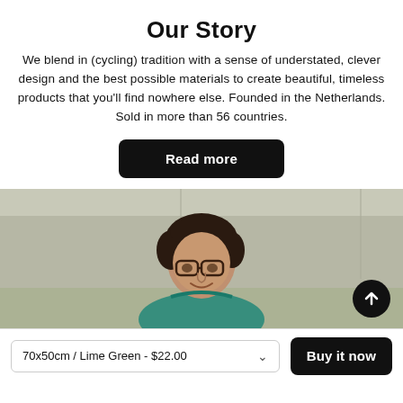Our Story
We blend in (cycling) tradition with a sense of understated, clever design and the best possible materials to create beautiful, timeless products that you'll find nowhere else. Founded in the Netherlands. Sold in more than 56 countries.
Read more
[Figure (photo): A person with dark curly hair and glasses, wearing a teal/green top, photographed indoors against a light background. A circular button with an upward arrow is overlaid in the bottom-right corner.]
70x50cm / Lime Green - $22.00
Buy it now